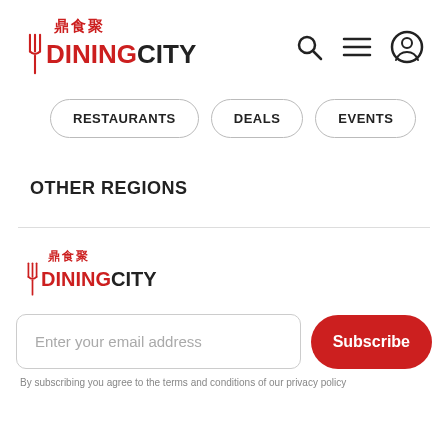[Figure (logo): DiningCity logo with Chinese characters 鼎食聚 in red and fork/knife icon, with search, menu, and user icons]
RESTAURANTS
DEALS
EVENTS
OTHER REGIONS
[Figure (logo): DiningCity footer logo with Chinese characters 鼎食聚 in red and fork/knife icon]
Enter your email address
Subscribe
By subscribing you agree to the terms and conditions of our privacy policy